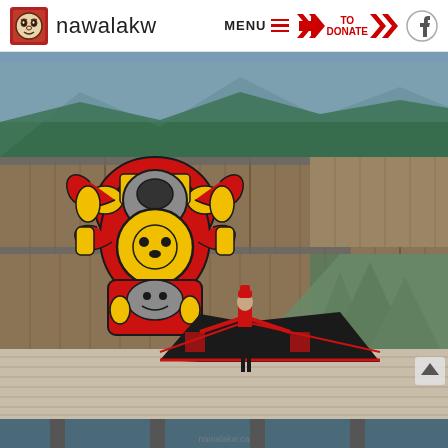nawalakw — MENU | TO DONATE
[Figure (photo): A modern wooden building with a large Indigenous Northwest Coast art mural painted on the exterior wall featuring a totem-style creature in red, yellow, and black. A person wearing traditional Indigenous regalia (red and black blanket, headdress) stands in front of the building on a wooden deck platform above water.]